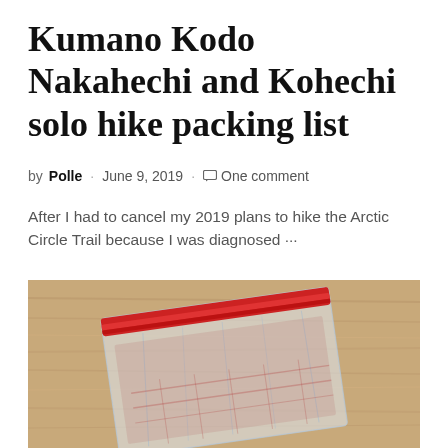Kumano Kodo Nakahechi and Kohechi solo hike packing list
by Polle · June 9, 2019 · One comment
After I had to cancel my 2019 plans to hike the Arctic Circle Trail because I was diagnosed ···
[Figure (photo): A clear zip-lock plastic bag with a red zipper seal, placed on a light wooden surface. The bag appears to contain some items inside.]